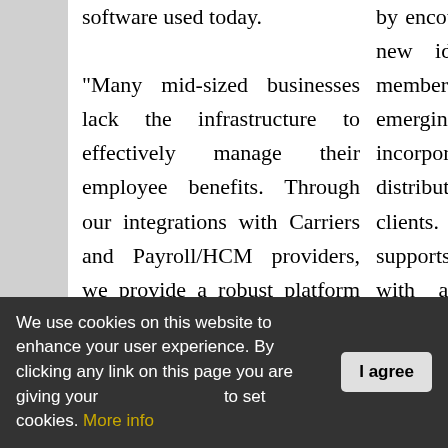software used today. "Many mid-sized businesses lack the infrastructure to effectively manage their employee benefits. Through our integrations with Carriers and Payroll/HCM providers, we provide a robust platform of solutions that facilitate information
by encouraging and supporting new ideas from its team members, constantly observing emerging industry trends, and incorporating insights from its distribution partners and clients. EverythingBenefits supports its partner network with a unique partnership program designed to foster innovation at
We use cookies on this website to enhance your user experience. By clicking any link on this page you are giving your consent for us to set cookies. More info